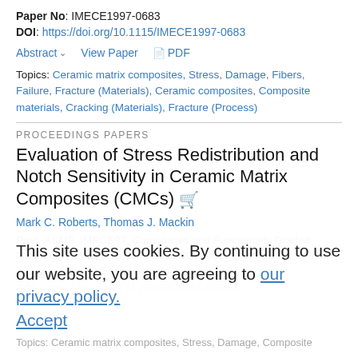Paper No: IMECE1997-0683
DOI: https://doi.org/10.1115/IMECE1997-0683
Abstract  View Paper  PDF
Topics: Ceramic matrix composites, Stress, Damage, Fibers, Failure, Fracture (Materials), Ceramic composites, Composite materials, Cracking (Materials), Fracture (Process)
PROCEEDINGS PAPERS
Evaluation of Stress Redistribution and Notch Sensitivity in Ceramic Matrix Composites (CMCs)
Mark C. Roberts, Thomas J. Mackin
Proc. ASME. IMECE97, Composites and Functionally Graded Materials, 205-211, November 16–21, 1997
Paper No: IMECE1997-0666
DOI: https://doi.org/10.1115/IMECE1997-0666
This site uses cookies. By continuing to use our website, you are agreeing to our privacy policy. Accept
Topics: Ceramic matrix composites, Stress, Damage, Composite